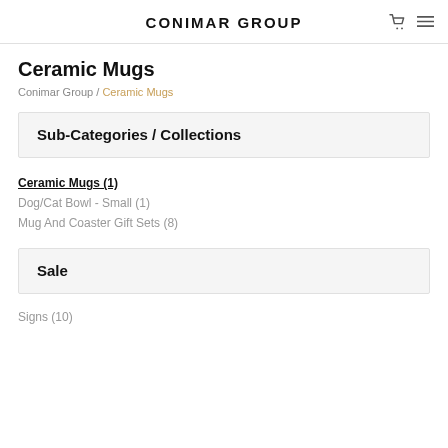CONIMAR GROUP
Ceramic Mugs
Conimar Group / Ceramic Mugs
Sub-Categories / Collections
Ceramic Mugs (1)
Dog/Cat Bowl - Small (1)
Mug And Coaster Gift Sets (8)
Sale
Signs (10)